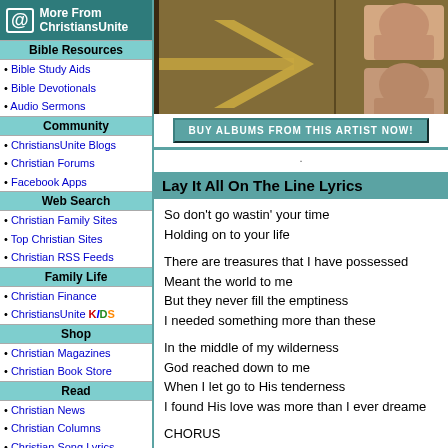[Figure (photo): Artist promotional photo with golden door/arrow motif and two male faces]
BUY ALBUMS FROM THIS ARTIST NOW!
More From ChristiansUnite
Bible Resources
• Bible Study Aids
• Bible Devotionals
• Audio Sermons
Community
• ChristiansUnite Blogs
• Christian Forums
• Facebook Apps
Web Search
• Christian Family Sites
• Top Christian Sites
• Christian RSS Feeds
Family Life
• Christian Finance
• ChristiansUnite KIDS
Shop
• Christian Magazines
• Christian Book Store
Read
• Christian News
• Christian Columns
• Christian Song Lyrics
• Christian Mailing Lists
Connect
• Christian Singles
• Christian Classifieds
Graphics
• Free Christian Clipart
• Christian Wallpaper
Fun Stuff
• Clean Christian Jokes
Lay It All On The Line Lyrics
So don't go wastin' your time
Holding on to your life

There are treasures that I have possessed
Meant the world to me
But they never fill the emptiness
I needed something more than these

In the middle of my wilderness
God reached down to me
When I let go to His tenderness
I found His love was more than I ever dreamed

CHORUS
So don't go wastin' your time